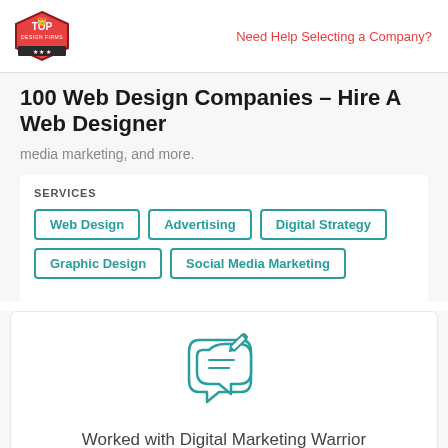Top Design Firms logo | Need Help Selecting a Company?
100 Web Design Companies – Hire A Web Designer
media marketing, and more.
SERVICES
Web Design
Advertising
Digital Strategy
Graphic Design
Social Media Marketing
[Figure (illustration): Chat bubble with pencil/edit icon in teal outline style]
Worked with Digital Marketing Warrior before?
Leave a Review  >